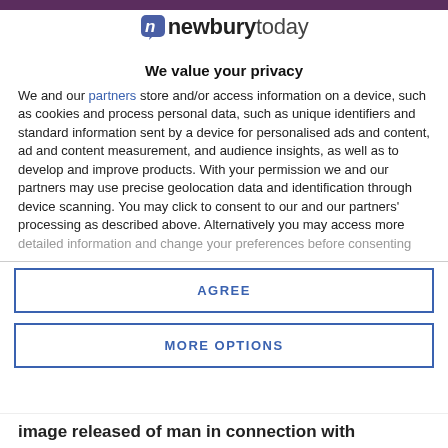[Figure (logo): Newburytoday logo with stylized 'n' icon in a speech bubble, followed by bold 'newbury' and regular 'today' text]
We value your privacy
We and our partners store and/or access information on a device, such as cookies and process personal data, such as unique identifiers and standard information sent by a device for personalised ads and content, ad and content measurement, and audience insights, as well as to develop and improve products. With your permission we and our partners may use precise geolocation data and identification through device scanning. You may click to consent to our and our partners' processing as described above. Alternatively you may access more detailed information and change your preferences before consenting
AGREE
MORE OPTIONS
image released of man in connection with